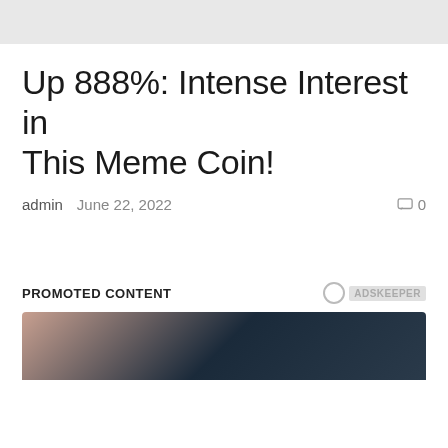Up 888%: Intense Interest in This Meme Coin!
admin   June 22, 2022   0
PROMOTED CONTENT
[Figure (photo): Cropped photo of a person with dark hair, viewed from behind/side, with a peach/skin-tone background]